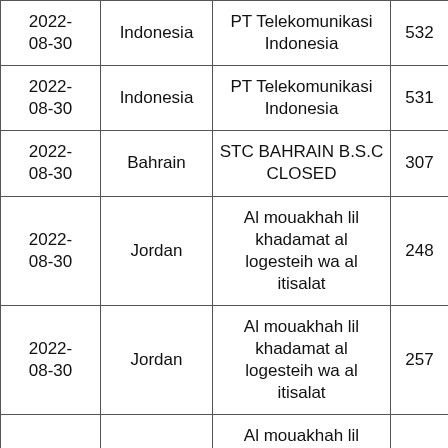| 2022-08-30 | Indonesia | PT Telekomunikasi Indonesia | 532 |
| 2022-08-30 | Indonesia | PT Telekomunikasi Indonesia | 531 |
| 2022-08-30 | Bahrain | STC BAHRAIN B.S.C CLOSED | 307 |
| 2022-08-30 | Jordan | Al mouakhah lil khadamat al logesteih wa al itisalat | 248 |
| 2022-08-30 | Jordan | Al mouakhah lil khadamat al logesteih wa al itisalat | 257 |
| 2022-08-30 | Jordan | Al mouakhah lil khadamat al logesteih wa al itisalat | 242 |
| 2022-08-30 | Germany | Zscaler Switzerland GmbH | 193 |